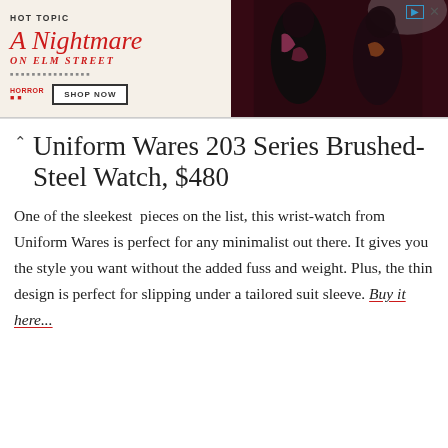[Figure (illustration): Hot Topic advertisement banner for 'A Nightmare on Elm Street' merchandise featuring two people in dark clothing with a 'Shop Now' button]
Uniform Wares 203 Series Brushed-Steel Watch, $480
One of the sleekest  pieces on the list, this wrist-watch from Uniform Wares is perfect for any minimalist out there. It gives you the style you want without the added fuss and weight. Plus, the thin design is perfect for slipping under a tailored suit sleeve. Buy it here...